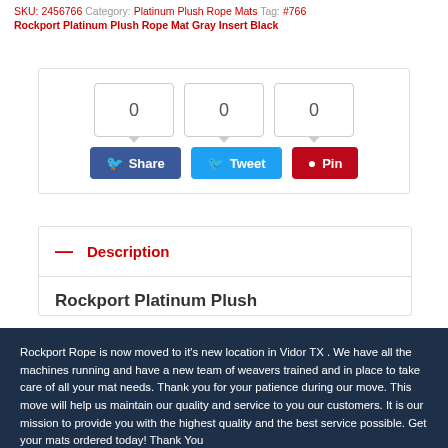SKU: 2456766 Category: Platinum Plush Rope Mats Tag: #766 Rockport Platinum Plush Rope Mat Gray Insert Black
[Figure (screenshot): Social share widget with three count boxes showing 0, 0, 0 and three buttons: Facebook Share (blue), Twitter Tweet (light blue), Pinterest Pin (red)]
— Description
Rockport Platinum Plush
Rockport Rope is now moved to it's new location in Vidor TX . We have all the machines running and have a new team of weavers trained and in place to take care of all your mat needs. Thank you for your patience during our move. This move will help us maintain our quality and service to you our customers. It is our mission to provide you with the highest quality and the best service possible. Get your mats ordered today! Thank You